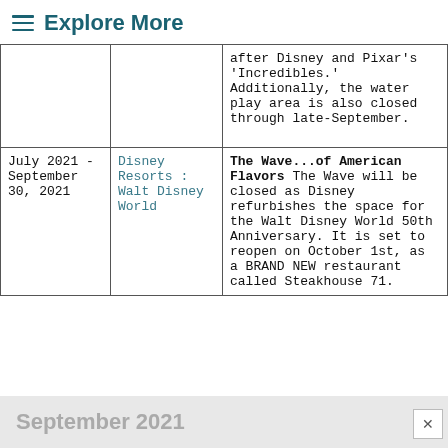Explore More
| Date | Resort | Description |
| --- | --- | --- |
|  |  | after Disney and Pixar's 'Incredibles.' Additionally, the water play area is also closed through late-September. |
| July 2021 - September 30, 2021 | Disney Resorts : Walt Disney World | The Wave...of American Flavors The Wave will be closed as Disney refurbishes the space for the Walt Disney World 50th Anniversary. It is set to reopen on October 1st, as a BRAND NEW restaurant called Steakhouse 71. |
September 2021